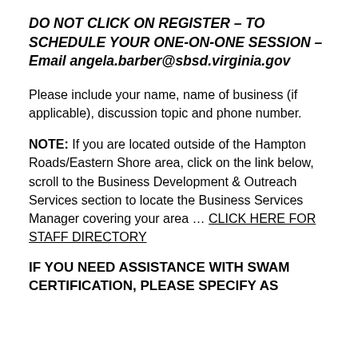DO NOT CLICK ON REGISTER – TO SCHEDULE YOUR ONE-ON-ONE SESSION – Email angela.barber@sbsd.virginia.gov
Please include your name, name of business (if applicable), discussion topic and phone number.
NOTE: If you are located outside of the Hampton Roads/Eastern Shore area, click on the link below, scroll to the Business Development & Outreach Services section to locate the Business Services Manager covering your area … CLICK HERE FOR STAFF DIRECTORY
IF YOU NEED ASSISTANCE WITH SWAM CERTIFICATION, PLEASE SPECIFY AS